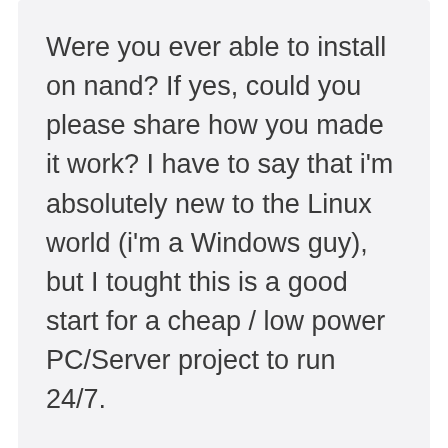Were you ever able to install on nand? If yes, could you please share how you made it work? I have to say that i'm absolutely new to the Linux world (i'm a Windows guy), but I tought this is a good start for a cheap / low power PC/Server project to run 24/7.
Thank you in advance for your help
Jensk
Reply